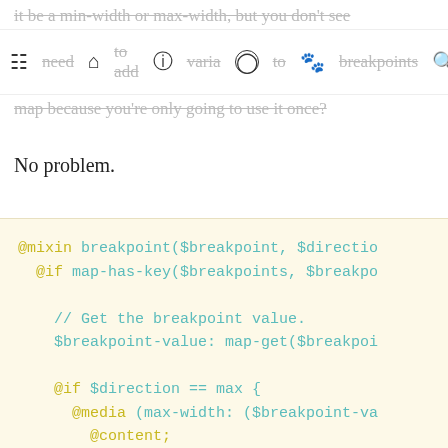it be a min-width or max-width, but you don't see need to add a varia to breakpoints map because you're only going to use it once?
No problem.
[Figure (screenshot): Code block showing SCSS mixin for breakpoints with syntax highlighting on a light yellow background. Code includes @mixin breakpoint($breakpoint, $direction), @if map-has-key($breakpoints, $breakpoint), // Get the breakpoint value., $breakpoint-value: map-get($breakpoi, @if $direction == max {, @media (max-width: ($breakpoint-va, @content;, }, } @else if $direction == min {, @media (min-width: $breakpoint-val]